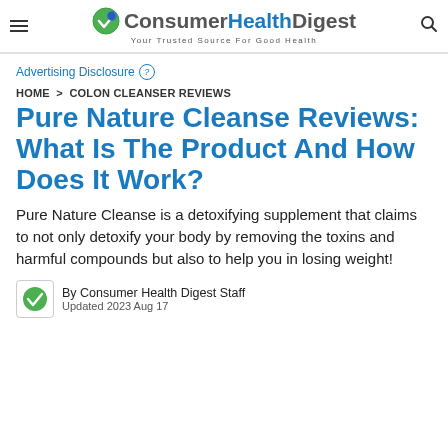Consumer Health Digest — Your Trusted Source For Good Health
Advertising Disclosure (?)
HOME > COLON CLEANSER REVIEWS
Pure Nature Cleanse Reviews: What Is The Product And How Does It Work?
Pure Nature Cleanse is a detoxifying supplement that claims to not only detoxify your body by removing the toxins and harmful compounds but also to help you in losing weight!
By Consumer Health Digest Staff